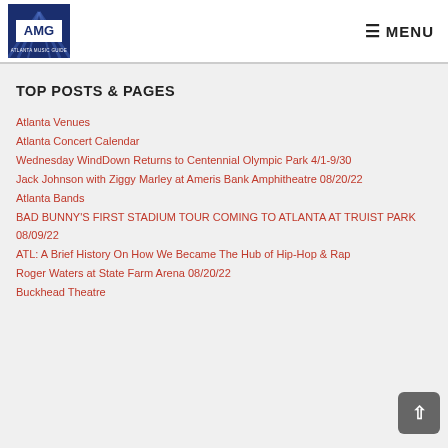AMG | MENU
TOP POSTS & PAGES
Atlanta Venues
Atlanta Concert Calendar
Wednesday WindDown Returns to Centennial Olympic Park 4/1-9/30
Jack Johnson with Ziggy Marley at Ameris Bank Amphitheatre 08/20/22
Atlanta Bands
BAD BUNNY'S FIRST STADIUM TOUR COMING TO ATLANTA AT TRUIST PARK 08/09/22
ATL: A Brief History On How We Became The Hub of Hip-Hop & Rap
Roger Waters at State Farm Arena 08/20/22
Buckhead Theatre